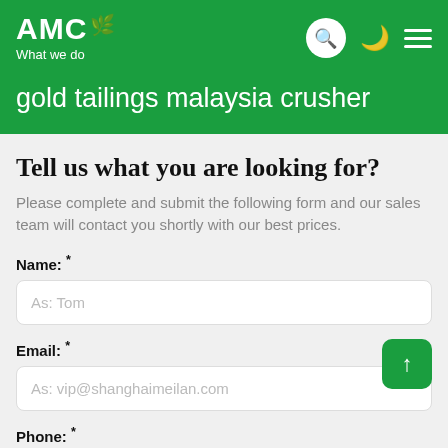AMC — What we do
gold tailings malaysia crusher
Tell us what you are looking for?
Please complete and submit the following form and our sales team will contact you shortly with our best prices.
Name: *
As: Tom
Email: *
As: vip@shanghaimeilan.com
Phone: *
With Country Code